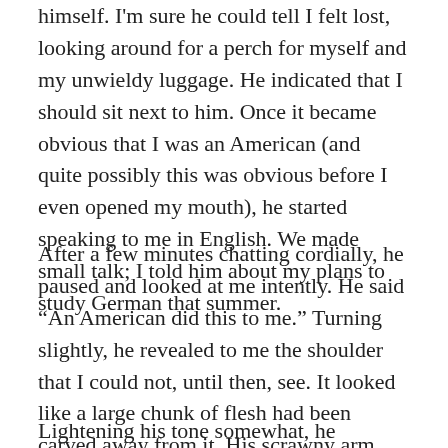himself. I'm sure he could tell I felt lost, looking around for a perch for myself and my unwieldy luggage. He indicated that I should sit next to him. Once it became obvious that I was an American (and quite possibly this was obvious before I even opened my mouth), he started speaking to me in English. We made small talk; I told him about my plans to study German that summer.
After a few minutes chatting cordially, he paused and looked at me intently. He said “An American did this to me.” Turning slightly, he revealed to me the shoulder that I could not, until then, see. It looked like a large chunk of flesh had been carved away from it. His scrawny arm hung lamely at his side. “I saw the man who did it,” he said. “I saw his eyes.”
Lightening his tone somewhat, he continued: “I don’t